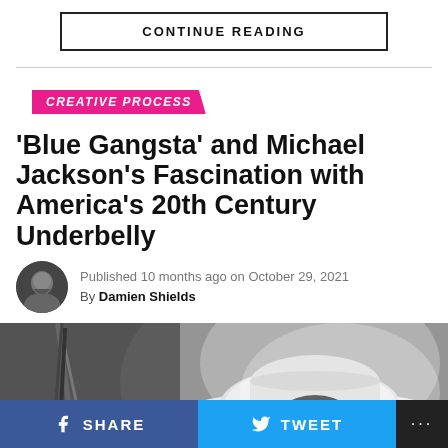CONTINUE READING
CREATIVE PROCESS
'Blue Gangsta' and Michael Jackson's Fascination with America's 20th Century Underbelly
Published 10 months ago on October 29, 2021
By Damien Shields
[Figure (photo): Black and white photo of a person wearing a wide-brimmed white fedora hat, partially obscured, with a microphone stand visible on the left side]
SHARE   TWEET   ...